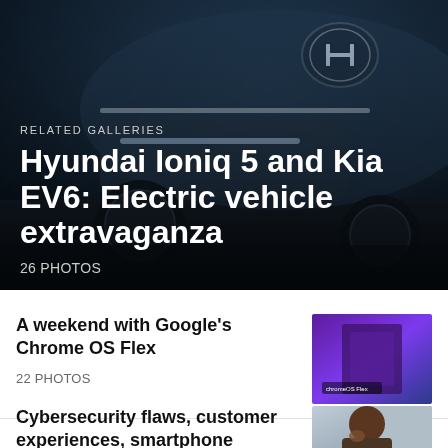[Figure (photo): Hero image of Hyundai Ioniq 5 electric vehicle from front-low angle, dark background]
RELATED GALLERIES
Hyundai Ioniq 5 and Kia EV6: Electric vehicle extravaganza
26 PHOTOS
A weekend with Google's Chrome OS Flex
22 PHOTOS
[Figure (photo): Thumbnail showing person holding a device with Chrome OS Flex branding, purple background]
Cybersecurity flaws, customer experiences, smartphone losses, and more: ZDNet's research
[Figure (photo): Thumbnail showing bearded man at laptop, light background]